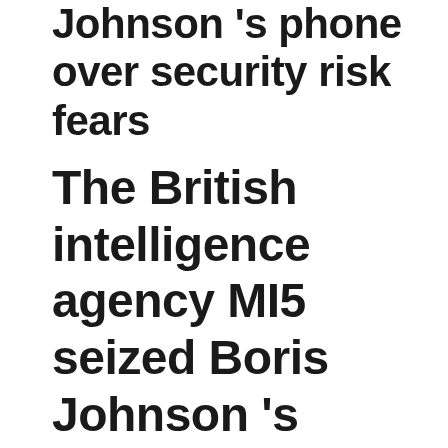Johnson's phone over security risk fears
The British intelligence agency MI5 seized Boris Johnson 's phone over concerns related to the availability of his number online for